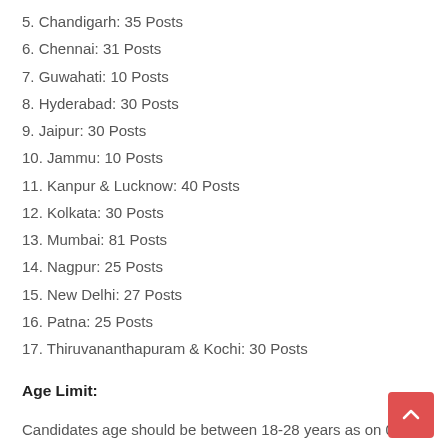5. Chandigarh: 35 Posts
6. Chennai: 31 Posts
7. Guwahati: 10 Posts
8. Hyderabad: 30 Posts
9. Jaipur: 30 Posts
10. Jammu: 10 Posts
11. Kanpur & Lucknow: 40 Posts
12. Kolkata: 30 Posts
13. Mumbai: 81 Posts
14. Nagpur: 25 Posts
15. New Delhi: 27 Posts
16. Patna: 25 Posts
17. Thiruvananthapuram & Kochi: 30 Posts
Age Limit:
Candidates age should be between 18-28 years as on 01-06-2015 i.e., candidates must have been born not earlier than 02-06-1987 and not later than 01-06-1997 (both days including). Age relaxation is